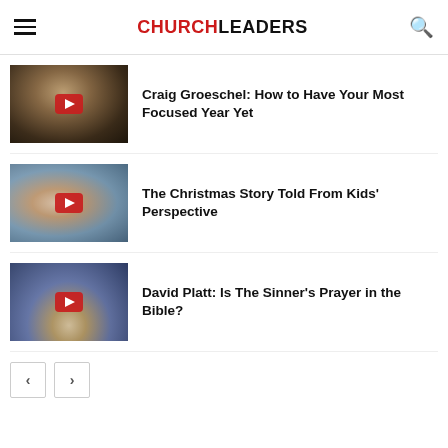CHURCHLEADERS
Craig Groeschel: How to Have Your Most Focused Year Yet
The Christmas Story Told From Kids' Perspective
David Platt: Is The Sinner's Prayer in the Bible?